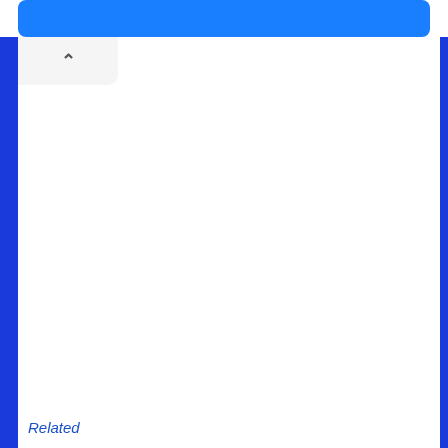[Figure (screenshot): Mobile app UI screenshot showing a blue top bar/button, a white content panel with a collapse chevron tab in the upper left, blue left and right border bars, and a 'Related' italic blue text label at the bottom left.]
Related